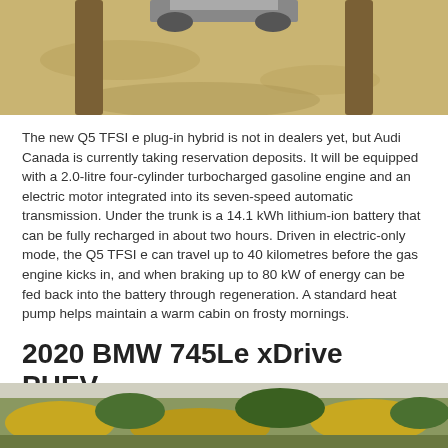[Figure (photo): Top portion of a car on sandy/dirt terrain with track marks visible, viewed from above]
The new Q5 TFSI e plug-in hybrid is not in dealers yet, but Audi Canada is currently taking reservation deposits. It will be equipped with a 2.0-litre four-cylinder turbocharged gasoline engine and an electric motor integrated into its seven-speed automatic transmission. Under the trunk is a 14.1 kWh lithium-ion battery that can be fully recharged in about two hours. Driven in electric-only mode, the Q5 TFSI e can travel up to 40 kilometres before the gas engine kicks in, and when braking up to 80 kW of energy can be fed back into the battery through regeneration. A standard heat pump helps maintain a warm cabin on frosty mornings.
2020 BMW 745Le xDrive PHEV
[Figure (photo): Bottom of a car photo showing landscape with yellow flowering bushes and trees in background]